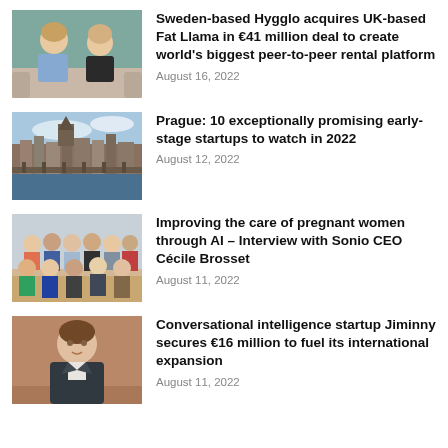[Figure (photo): Two people (man in blue shirt and woman in black top) sitting on a couch]
Sweden-based Hygglo acquires UK-based Fat Llama in €41 million deal to create world's biggest peer-to-peer rental platform
August 16, 2022
[Figure (photo): Aerial view of Prague city with river and historic buildings]
Prague: 10 exceptionally promising early-stage startups to watch in 2022
August 12, 2022
[Figure (photo): Group photo of a team of about 15 people standing and sitting together]
Improving the care of pregnant women through AI – Interview with Sonio CEO Cécile Brosset
August 11, 2022
[Figure (photo): Portrait of a man in a suit against a warm background]
Conversational intelligence startup Jiminny secures €16 million to fuel its international expansion
August 11, 2022